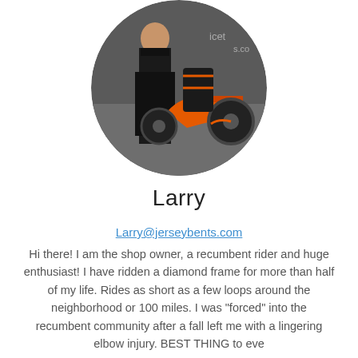[Figure (photo): Circular profile photo of Larry showing a person standing next to an orange recumbent bicycle/trike at what appears to be a shop or event, with text partially visible reading 'icet' and 's.co' on signage in background.]
Larry
Larry@jerseybents.com
Hi there! I am the shop owner, a recumbent rider and huge enthusiast! I have ridden a diamond frame for more than half of my life. Rides as short as a few loops around the neighborhood or 100 miles. I was "forced" into the recumbent community after a fall left me with a lingering elbow injury. BEST THING to eve
+ Show More